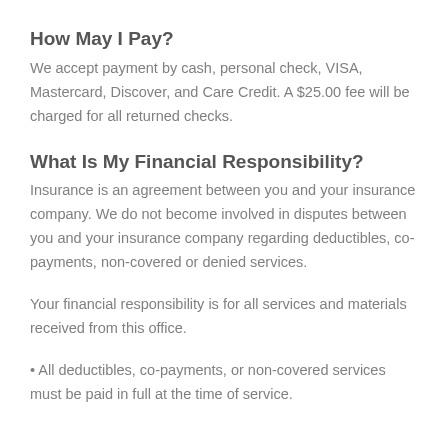How May I Pay?
We accept payment by cash, personal check, VISA, Mastercard, Discover, and Care Credit. A $25.00 fee will be charged for all returned checks.
What Is My Financial Responsibility?
Insurance is an agreement between you and your insurance company. We do not become involved in disputes between you and your insurance company regarding deductibles, co-payments, non-covered or denied services.
Your financial responsibility is for all services and materials received from this office.
All deductibles, co-payments, or non-covered services must be paid in full at the time of service.